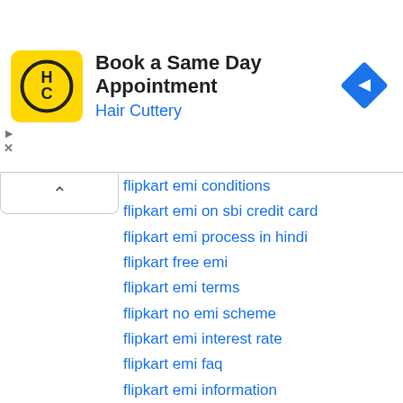[Figure (screenshot): Advertisement banner for Hair Cuttery: 'Book a Same Day Appointment' with HC logo and navigation arrow icon]
flipkart emi conditions
flipkart emi on sbi credit card
flipkart emi process in hindi
flipkart free emi
flipkart emi terms
flipkart no emi scheme
flipkart emi interest rate
flipkart emi faq
flipkart emi information
flipkart debit card emi quora
flipkart emi review
flipkart debit card emi 2018
flipkart emi without interest
flipkart no cost emi
Reply